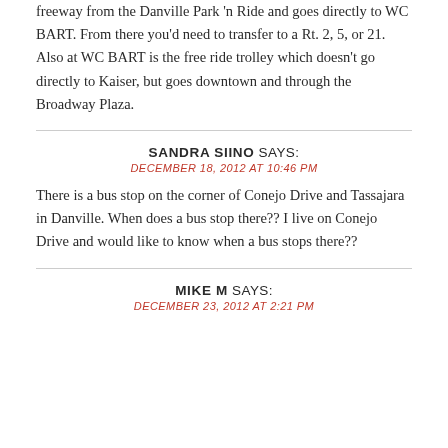freeway from the Danville Park 'n Ride and goes directly to WC BART. From there you'd need to transfer to a Rt. 2, 5, or 21. Also at WC BART is the free ride trolley which doesn't go directly to Kaiser, but goes downtown and through the Broadway Plaza.
SANDRA SIINO SAYS:
DECEMBER 18, 2012 AT 10:46 PM
There is a bus stop on the corner of Conejo Drive and Tassajara in Danville. When does a bus stop there?? I live on Conejo Drive and would like to know when a bus stops there??
MIKE M SAYS:
DECEMBER 23, 2012 AT 2:21 PM